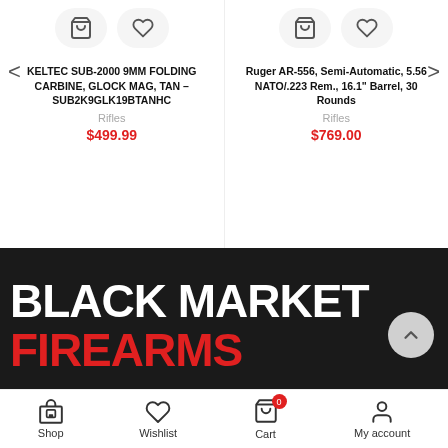< (left nav arrow)
> (right nav arrow)
KELTEC SUB-2000 9MM FOLDING CARBINE, GLOCK MAG, TAN – SUB2K9GLK19BTANHC
Rifles
$499.99
Ruger AR-556, Semi-Automatic, 5.56 NATO/.223 Rem., 16.1" Barrel, 30 Rounds
Rifles
$769.00
BLACK MARKET FIREARMS
Shop  Wishlist  Cart 0  My account